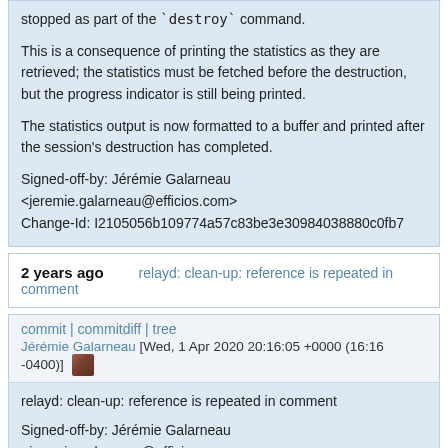stopped as part of the `destroy` command.

This is a consequence of printing the statistics as they are retrieved; the statistics must be fetched before the destruction, but the progress indicator is still being printed.

The statistics output is now formatted to a buffer and printed after the session's destruction has completed.

Signed-off-by: Jérémie Galarneau <jeremie.galarneau@efficios.com>
Change-Id: I2105056b109774a57c83be3e30984038880c0fb7
2 years ago   relayd: clean-up: reference is repeated in comment
commit | commitdiff | tree
Jérémie Galarneau [Wed, 1 Apr 2020 20:16:05 +0000 (16:16 -0400)]
relayd: clean-up: reference is repeated in comment

Signed-off-by: Jérémie Galarneau <jeremie.galarneau@efficios.com>
Change-Id: I2d963d5a3c0a2980eb745780b342b1fa9b14184d